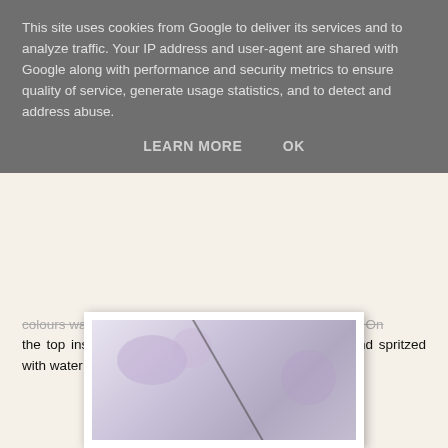colours washing them over each other in different areas . On the top insert I also sprinkled a little of Violet Storm and spritzed with water .
[Figure (photo): Photograph of a decorative craft box or album with floral patterned design in purple and white tones, partially visible at the bottom of the page]
This site uses cookies from Google to deliver its services and to analyze traffic. Your IP address and user-agent are shared with Google along with performance and security metrics to ensure quality of service, generate usage statistics, and to detect and address abuse.
LEARN MORE   OK